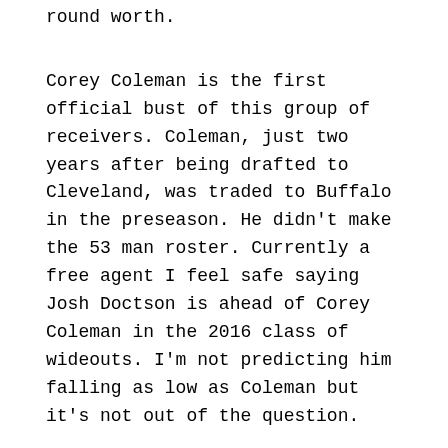round worth.
Corey Coleman is the first official bust of this group of receivers. Coleman, just two years after being drafted to Cleveland, was traded to Buffalo in the preseason. He didn't make the 53 man roster. Currently a free agent I feel safe saying Josh Doctson is ahead of Corey Coleman in the 2016 class of wideouts. I'm not predicting him falling as low as Coleman but it's not out of the question.
Will Fuller has yet to play in a full 16 game season. He's had a tuff time battling injuries in his short career, missing 8 games in two seasons. Still Fuller has made big contributions to the Texans. He had 7 touchdowns in only 10 games in 2017. Doctson had 6